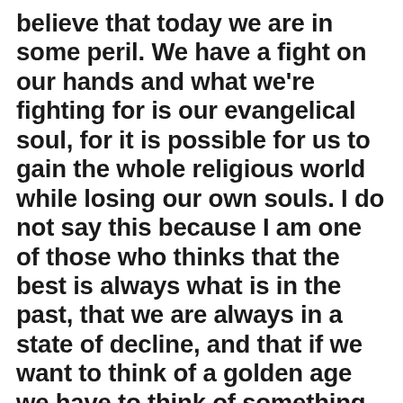believe that today we are in some peril. We have a fight on our hands and what we're fighting for is our evangelical soul, for it is possible for us to gain the whole religious world while losing our own souls. I do not say this because I am one of those who thinks that the best is always what is in the past, that we are always in a state of decline, and that if we want to think of a golden age we have to think of something that is behind us. I do not think that way at all. In some ways we, today, are better off than we were twenty-five years ago. Perhaps a lot better off. And yet in spite of that, I believe there are matters within the evangelical